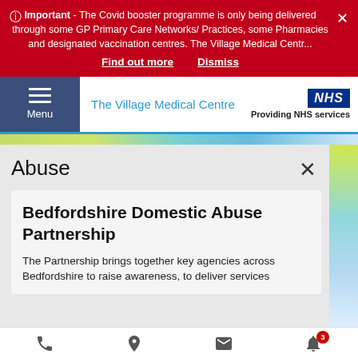Important - The Covid booster programme is only being delivered through some GP Primary Care Networks/ Practices, some Pharmacies and designated vaccination centres. The Village Medical Centr...
Find out more   Dismiss
The Village Medical Centre — Providing NHS services
Abuse
Bedfordshire Domestic Abuse Partnership
The Partnership brings together key agencies across Bedfordshire to raise awareness, to deliver services
Phone  Location  Message  News